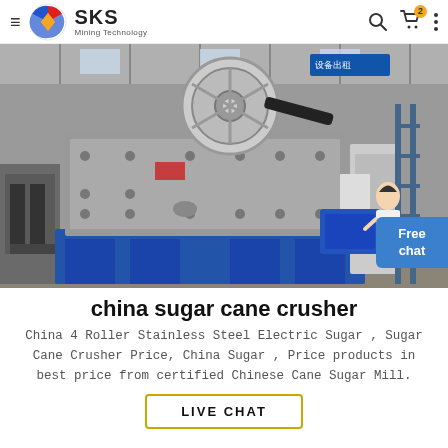SKS Mining Technology
[Figure (photo): Large industrial sugar cane crusher machine photographed in a factory warehouse setting. The machine is grey with blue base components and a large flywheel on top. A female customer service representative icon appears in the lower right corner with a 'Free chat' button overlay.]
china sugar cane crusher
China 4 Roller Stainless Steel Electric Sugar , Sugar Cane Crusher Price, China Sugar , Price products in best price from certified Chinese Cane Sugar Mill.
LIVE CHAT